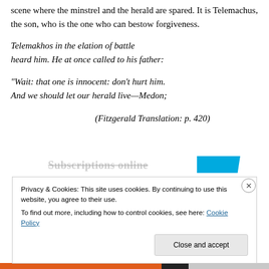scene where the minstrel and the herald are spared. It is Telemachus, the son, who is the one who can bestow forgiveness.
Telemakhos in the elation of battle heard him. He at once called to his father:
“Wait: that one is innocent: don’t hurt him. And we should let our herald live—Medon;
(Fitzgerald Translation: p. 420)
Subscriptions online
Privacy & Cookies: This site uses cookies. By continuing to use this website, you agree to their use.
To find out more, including how to control cookies, see here: Cookie Policy
Close and accept